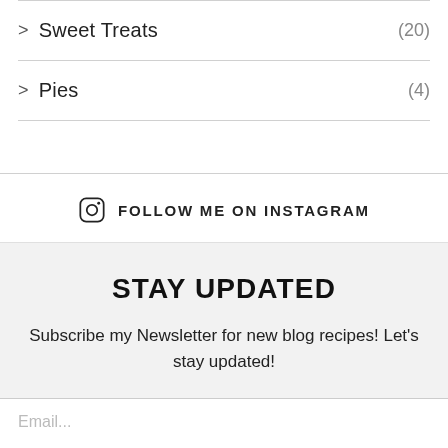> Sweet Treats (20)
> Pies (4)
FOLLOW ME ON INSTAGRAM
STAY UPDATED
Subscribe my Newsletter for new blog recipes! Let's stay updated!
Email...